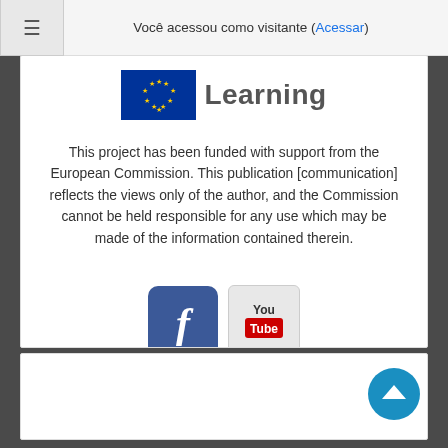Você acessou como visitante (Acessar)
[Figure (logo): EU flag with stars and the word Learning — European Commission e-learning logo]
This project has been funded with support from the European Commission. This publication [communication] reflects the views only of the author, and the Commission cannot be held responsible for any use which may be made of the information contained therein.
[Figure (illustration): Facebook icon (blue rounded square with white letter f) and YouTube icon (grey rounded square with You/Tube red logo)]